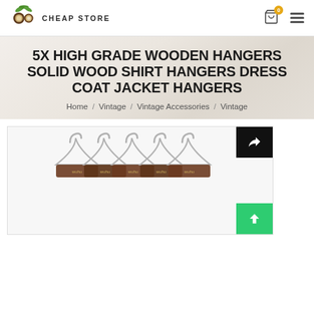CHEAP STORE
5X HIGH GRADE WOODEN HANGERS SOLID WOOD SHIRT HANGERS DRESS COAT JACKET HANGERS
Home / Vintage / Vintage Accessories / Vintage
[Figure (photo): Five dark walnut wooden hangers with silver metal hooks arranged side by side, labeled with brand name on the wood body.]